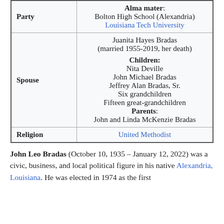| Party | Alma mater / Spouse / Religion |
| --- | --- |
| Party | Alma mater:
Bolton High School (Alexandria) Louisiana Tech University |
| Spouse | Juanita Hayes Bradas
(married 1955-2019, her death)
Children:
Nita Deville
John Michael Bradas
Jeffrey Alan Bradas, Sr.
Six grandchildren
Fifteen great-grandchildren
Parents:
John and Linda McKenzie Bradas |
| Religion | United Methodist |
John Leo Bradas (October 10, 1935 – January 12, 2022) was a civic, business, and local political figure in his native Alexandria, Louisiana. He was elected in 1974 as the first